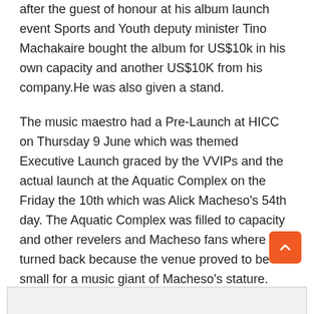after the guest of honour at his album launch event Sports and Youth deputy minister Tino Machakaire bought the album for US$10k in his own capacity and another US$10K from his company.He was also given a stand.
The music maestro had a Pre-Launch at HICC on Thursday 9 June which was themed Executive Launch graced by the VVIPs and the actual launch at the Aquatic Complex on the Friday the 10th which was Alick Macheso's 54th day. The Aquatic Complex was filled to capacity and other revelers and Macheso fans where turned back because the venue proved to be too small for a music giant of Macheso's stature.
The album comprises songs which include Ndimi Vanhu Vacho, Kutadzirana and Impfa Nimulandi.